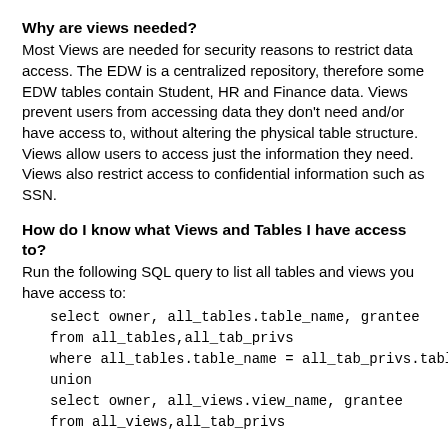Why are views needed?
Most Views are needed for security reasons to restrict data access. The EDW is a centralized repository, therefore some EDW tables contain Student, HR and Finance data. Views prevent users from accessing data they don't need and/or have access to, without altering the physical table structure. Views allow users to access just the information they need. Views also restrict access to confidential information such as SSN.
How do I know what Views and Tables I have access to?
Run the following SQL query to list all tables and views you have access to:
select owner, all_tables.table_name, grantee
from all_tables,all_tab_privs
where all_tables.table_name = all_tab_privs.table_name
union
select owner, all_views.view_name, grantee
from all_views,all_tab_privs